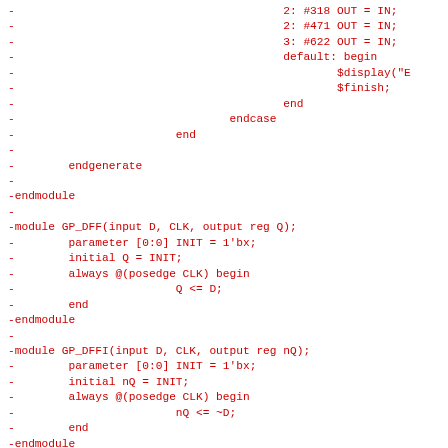- 2: #318 OUT = IN;
- 2: #471 OUT = IN;
- 3: #622 OUT = IN;
- default: begin
- $display("E
- $finish;
- end
- endcase
- end
-
- endgenerate
-
-endmodule
-
-module GP_DFF(input D, CLK, output reg Q);
- parameter [0:0] INIT = 1'bx;
- initial Q = INIT;
- always @(posedge CLK) begin
- Q <= D;
- end
-endmodule
-
-module GP_DFFI(input D, CLK, output reg nQ);
- parameter [0:0] INIT = 1'bx;
- initial nQ = INIT;
- always @(posedge CLK) begin
- nQ <= ~D;
- end
-endmodule
-
- module GP_DFFR(input D, CLK, nRST, output reg Q);